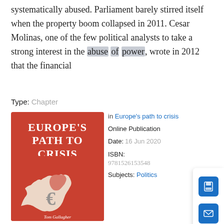systematically abused. Parliament barely stirred itself when the property boom collapsed in 2011. Cesar Molinas, one of the few political analysts to take a strong interest in the abuse of power, wrote in 2012 that the financial
Type: Chapter
[Figure (illustration): Book cover for 'Europe's Path to Crisis' by Tom Gallagher, red cover with white map of Europe and euro symbol]
in Europe's path to crisis
Online Publication Date: 16 Jun 2020
ISBN: 9781526153548
Subjects: Politics